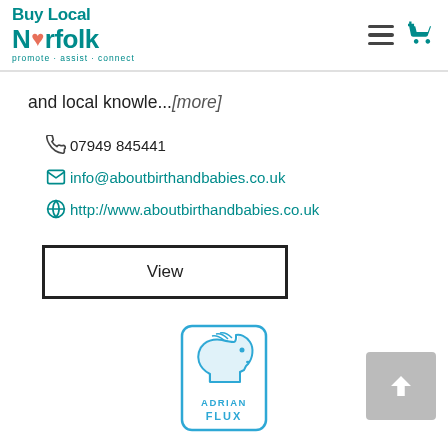Buy Local Norfolk - promote · assist · connect
and local knowle...[more]
07949 845441
info@aboutbirthandbabies.co.uk
http://www.aboutbirthandbabies.co.uk
View
[Figure (logo): Adrian Flux logo — a blue horse head illustration with 'ADRIAN FLUX' text, inside a rounded rectangle border in blue]